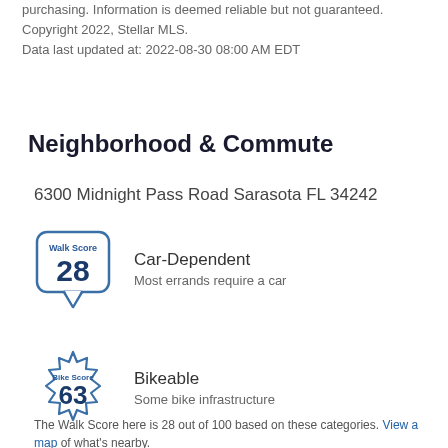purchasing. Information is deemed reliable but not guaranteed. Copyright 2022, Stellar MLS. Data last updated at: 2022-08-30 08:00 AM EDT
Neighborhood & Commute
6300 Midnight Pass Road Sarasota FL 34242
[Figure (infographic): Walk Score badge showing score of 28 in a speech-bubble shaped box with blue border, labeled 'Walk Score']
Car-Dependent
Most errands require a car
[Figure (infographic): Bike Score badge showing score of 63 in a starburst/gear shaped outline with blue border, labeled 'Bike Score']
Bikeable
Some bike infrastructure
The Walk Score here is 28 out of 100 based on these categories. View a map of what's nearby.